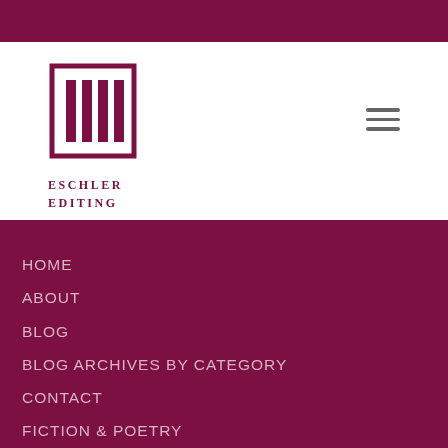[Figure (logo): Eschler Editing logo with vertical bar icon above text reading ESCHLER EDITING]
HOME
ABOUT
BLOG
BLOG ARCHIVES BY CATEGORY
CONTACT
FICTION & POETRY